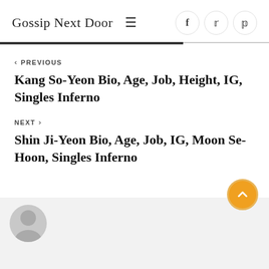Gossip Next Door
< PREVIOUS
Kang So-Yeon Bio, Age, Job, Height, IG, Singles Inferno
NEXT >
Shin Ji-Yeon Bio, Age, Job, IG, Moon Se-Hoon, Singles Inferno
[Figure (illustration): Back to top button - orange circle with upward chevron arrow]